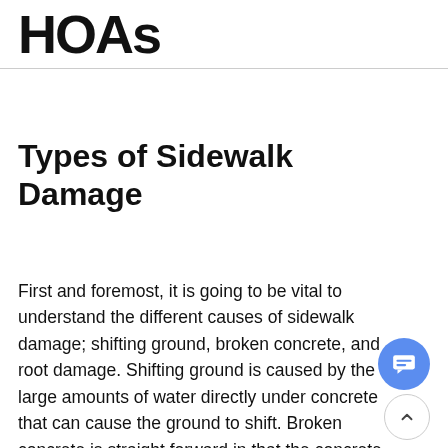HOAs
Types of Sidewalk Damage
First and foremost, it is going to be vital to understand the different causes of sidewalk damage; shifting ground, broken concrete, and root damage. Shifting ground is caused by the large amounts of water directly under concrete that can cause the ground to shift. Broken concrete is straight forward in that the concrete is